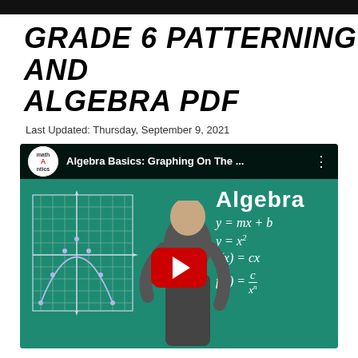GRADE 6 PATTERNING AND ALGEBRA PDF
Last Updated: Thursday, September 9, 2021
[Figure (screenshot): YouTube video thumbnail for 'Algebra Basics: Graphing On The ...' by Math Antics channel. Shows a green chalkboard background with a coordinate graph on the left with a parabola, a person/teacher in the center, a red YouTube play button overlay, and algebra formulas on the right: Algebra, y=mx+b, y=x², f(x)=cx, f(x)=c/xⁿ]